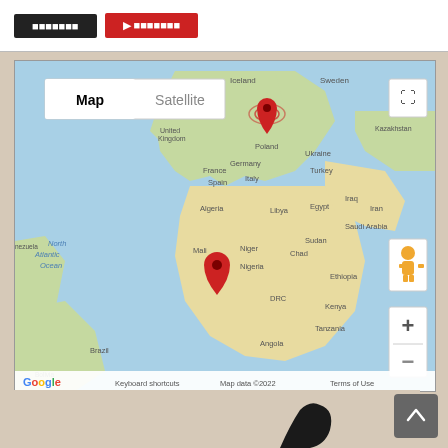[Figure (screenshot): Top bar with a black button and a red button with arrow icon]
[Figure (map): Google Maps view showing world map centered on Europe/Africa with two red location pins — one over Scandinavia/Denmark area and one over West Africa/Nigeria area. Map/Satellite toggle, zoom controls (+/-), Street View pegman, and fullscreen button visible. Labels include Iceland, Sweden, United Kingdom, Poland, Germany, France, Spain, Italy, Ukraine, Kazakhstan, Turkey, Iraq, Iran, Algeria, Libya, Egypt, Saudi Arabia, Sudan, Ethiopia, Kenya, Tanzania, DRC, Angola, Mali, Niger, Chad, Nigeria, North Atlantic Ocean, Brazil, Bolivia, Venezuela. Footer shows Google logo, Keyboard shortcuts, Map data ©2022, Terms of Use.]
[Figure (illustration): Partial silhouette of a figure/animal at the bottom of the page]
[Figure (screenshot): Grey scroll-to-top button with upward chevron arrow in bottom right corner]